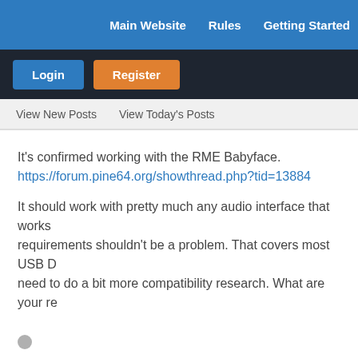Main Website   Rules   Getting Started
Login   Register
View New Posts   View Today's Posts
It's confirmed working with the RME Babyface.
https://forum.pine64.org/showthread.php?tid=13884

It should work with pretty much any audio interface that works... requirements shouldn't be a problem. That covers most USB D... need to do a bit more compatibility research. What are your re...
benedikt55
Pine Initiate